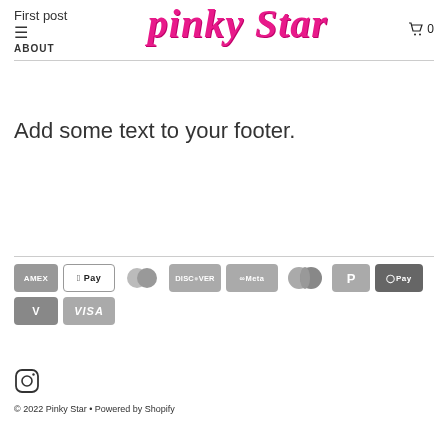First post  ☰  pinky star  ABOUT  🛒 0
Add some text to your footer.
[Figure (other): Payment method icons: AMEX, Apple Pay, Diners Club, Discover, Meta Pay, Mastercard, PayPal, ShopPay, Venmo, Visa]
[Figure (logo): Instagram icon]
© 2022 Pinky Star • Powered by Shopify